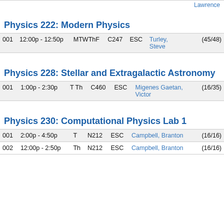Lawrence
Physics 222: Modern Physics
| Sec | Time | Days | Room | Bldg | Instructor | Enrollment |
| --- | --- | --- | --- | --- | --- | --- |
| 001 | 12:00p - 12:50p | MTWThF | C247 | ESC | Turley, Steve | (45/48) |
Physics 228: Stellar and Extragalactic Astronomy
| Sec | Time | Days | Room | Bldg | Instructor | Enrollment |
| --- | --- | --- | --- | --- | --- | --- |
| 001 | 1:00p - 2:30p | T Th | C460 | ESC | Migenes Gaetan, Victor | (16/35) |
Physics 230: Computational Physics Lab 1
| Sec | Time | Days | Room | Bldg | Instructor | Enrollment |
| --- | --- | --- | --- | --- | --- | --- |
| 001 | 2:00p - 4:50p | T | N212 | ESC | Campbell, Branton | (16/16) |
| 002 | 12:00p - 2:50p | Th | N212 | ESC | Campbell, Branton | (16/16) |